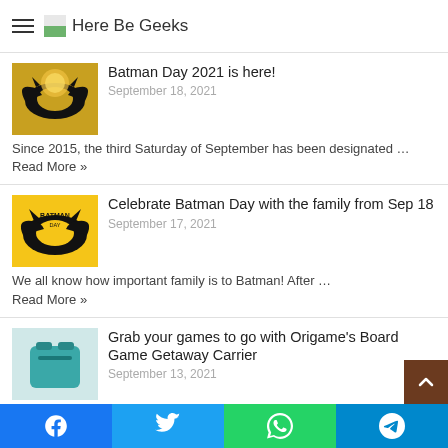Here Be Geeks
Batman Day 2021 is here!
September 18, 2021
Since 2015, the third Saturday of September has been designated ...Read More »
Celebrate Batman Day with the family from Sep 18
September 17, 2021
We all know how important family is to Batman! After … Read More »
Grab your games to go with Origame's Board Game Getaway Carrier
September 13, 2021
Singapore-based board game designer and retailer Origame has launched it's ...Read More »
PlayStation Showcase 2021: Marvel's Spider-Man 2